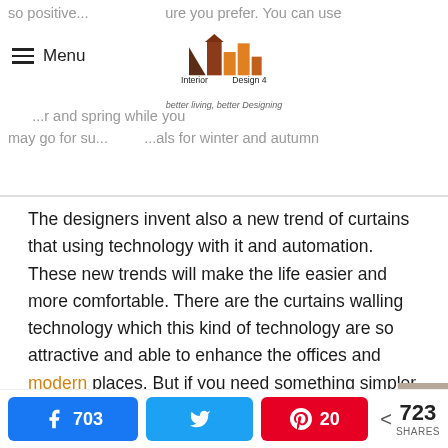so positive... ...ure you prefer. You can use ...r and spring while you may go for su... ...als for winter and autumn
[Figure (logo): Interior Design 4 logo with geometric bars in brown and orange, tagline: better living, better Designing]
The designers invent also a new trend of curtains that using technology with it and automation. These new trends will make the life easier and more comfortable. There are the curtains walling technology which this kind of technology are so attractive and able to enhance the offices and modern places. But if you need something simpler than that you can create your right and perfect curtains by using the perfect rod accents, the perfect fabric and the matched style with your exciting one.
The rods of your curtain can add the look you want with you
703 [Facebook share] | [Twitter share] | 20 [Pinterest share] | < 723 SHARES